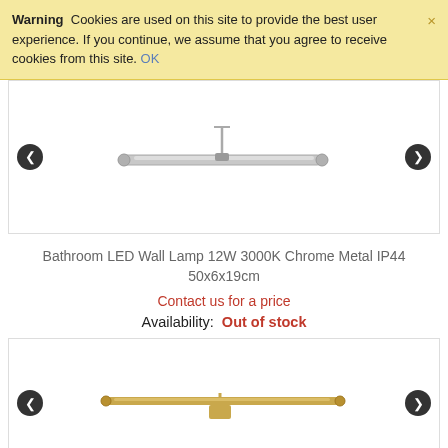Warning  Cookies are used on this site to provide the best user experience. If you continue, we assume that you agree to receive cookies from this site. OK
[Figure (photo): Chrome bathroom LED wall lamp, horizontal bar design with mounting bracket, shown against white background. Navigation arrows on left and right.]
Bathroom LED Wall Lamp 12W 3000K Chrome Metal IP44 50x6x19cm
Contact us for a price
Availability:  Out of stock
[Figure (photo): Gold/brass bathroom LED wall lamp, horizontal bar design with mounting bracket, shown against white background. Navigation arrows on left and right.]